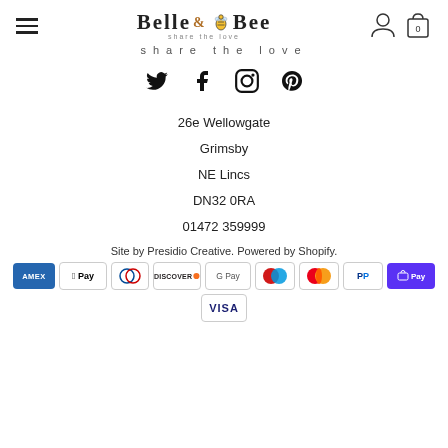[Figure (logo): Belle & Bee logo with tagline 'share the love' and hamburger menu, user icon and shopping bag icon with 0]
share the love
[Figure (infographic): Social media icons: Twitter, Facebook, Instagram, Pinterest]
26e Wellowgate
Grimsby
NE Lincs
DN32 0RA
01472 359999
Site by Presidio Creative. Powered by Shopify.
[Figure (infographic): Payment method icons: American Express, Apple Pay, Diners Club, Discover, Google Pay, Maestro, Mastercard, PayPal, Shopify Pay, Visa]